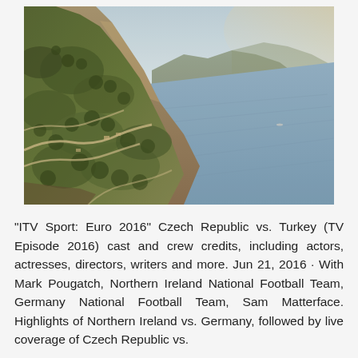[Figure (photo): Aerial photograph of a steep coastal cliff covered in dense green vegetation with winding roads, overlooking a calm blue sea and hazy mountains in the background under a light sky.]
"ITV Sport: Euro 2016" Czech Republic vs. Turkey (TV Episode 2016) cast and crew credits, including actors, actresses, directors, writers and more. Jun 21, 2016 · With Mark Pougatch, Northern Ireland National Football Team, Germany National Football Team, Sam Matterface. Highlights of Northern Ireland vs. Germany, followed by live coverage of Czech Republic vs.